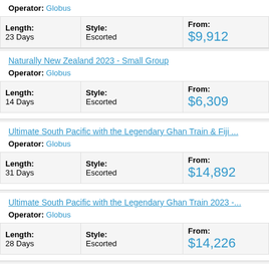Operator: Globus
| Length: | Style: | From: |
| --- | --- | --- |
| 23 Days | Escorted | $9,912 |
Naturally New Zealand 2023 - Small Group
Operator: Globus
| Length: | Style: | From: |
| --- | --- | --- |
| 14 Days | Escorted | $6,309 |
Ultimate South Pacific with the Legendary Ghan Train & Fiji ...
Operator: Globus
| Length: | Style: | From: |
| --- | --- | --- |
| 31 Days | Escorted | $14,892 |
Ultimate South Pacific with the Legendary Ghan Train 2023 -...
Operator: Globus
| Length: | Style: | From: |
| --- | --- | --- |
| 28 Days | Escorted | $14,226 |
New Year's Eve Down Under 2022
Operator: Globus